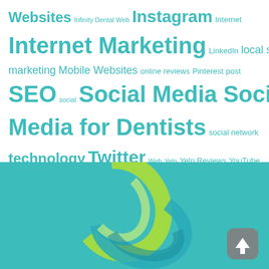Websites Infinity Dental Web Instagram Internet Internet Marketing LinkedIn local search marketing Mobile Websites online reviews Pinterest post SEO social Social Media Social Media for Dentists social network technology Twitter Web Yelp Yelp Reviews YouTube Channel
[Figure (logo): Teal background with a 3D twisted ribbon/loop logo in green and teal colors, with a grey rounded square scroll-to-top button (up arrow) in the bottom right corner.]